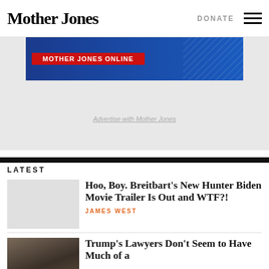Mother Jones | DONATE
[Figure (other): Advertisement banner with red button and blue diagonal pattern background]
Advertise with Mother Jones
LATEST
Hoo, Boy. Breitbart’s New Hunter Biden Movie Trailer Is Out and WTF?!
JAMES WEST
[Figure (photo): Photo of Trump at an event in formal wear]
Trump’s Lawyers Don’t Seem to Have Much of a